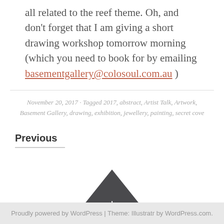all related to the reef theme. Oh, and don't forget that I am giving a short drawing workshop tomorrow morning (which you need to book for by emailing basementgallery@colosoul.com.au )
November 20, 2017 · Tagged 2017, abstract, Artist Talk, Artwork, Basement Gallery, drawing, exhibition, jewellery, painting, secret cove
Previous
Proudly powered by WordPress | Theme: Illustratr by WordPress.com.